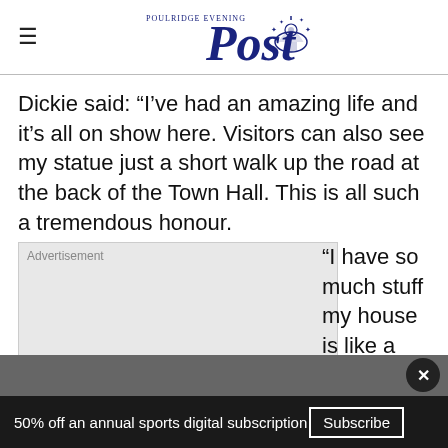Poulridge Evening Post
Dickie said: “I’ve had an amazing life and it’s all on show here. Visitors can also see my statue just a short walk up the road at the back of the Town Hall. This is all such a tremendous honour.
[Figure (other): Advertisement placeholder box]
“I have so much stuff my house is like a
50% off an annual sports digital subscription  Subscribe